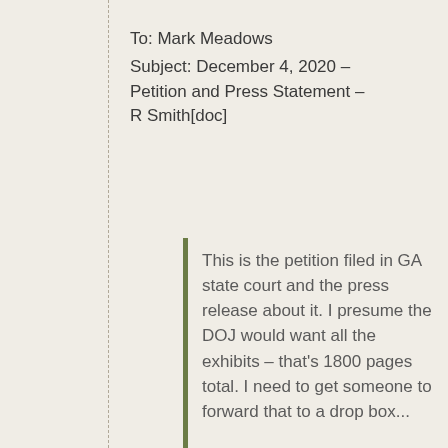To: Mark Meadows
Subject: December 4, 2020 – Petition and Press Statement – R Smith[doc]
This is the petition filed in GA state court and the press release about it. I presume the DOJ would want all the exhibits – that's 1800 pages total. I need to get someone to forward that to a drop box...